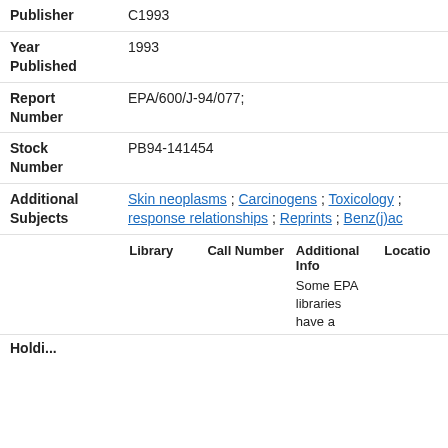Publisher: C1993
Year Published: 1993
Report Number: EPA/600/J-94/077;
Stock Number: PB94-141454
Additional Subjects: Skin neoplasms ; Carcinogens ; Toxicology ; response relationships ; Reprints ; Benz(j)ac
| Library | Call Number | Additional Info | Location |
| --- | --- | --- | --- |
|  |  | Some EPA libraries have a |  |